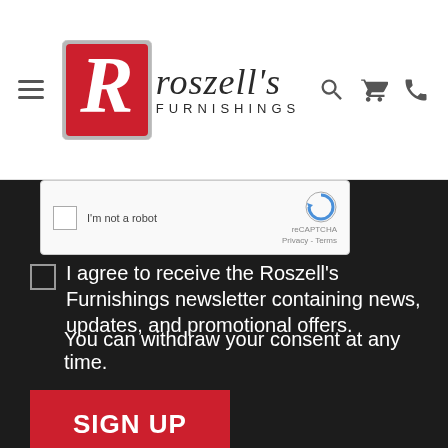[Figure (logo): Roszell's Furnishings logo with red R icon and company name]
[Figure (screenshot): reCAPTCHA widget with checkbox, reCAPTCHA label, Privacy and Terms links]
I agree to receive the Roszell's Furnishings newsletter containing news, updates, and promotional offers.
You can withdraw your consent at any time.
SIGN UP
[Figure (infographic): Social media icons: Facebook, YouTube, RSS feed, Email]